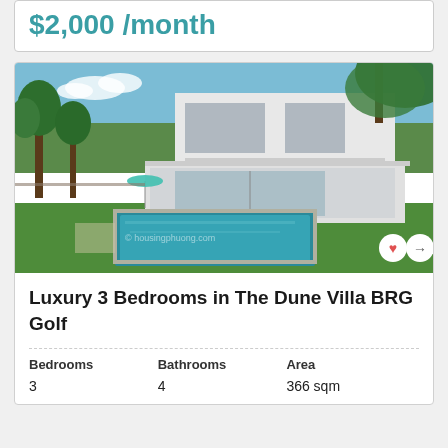$2,000 /month
[Figure (photo): Luxury villa with swimming pool, modern architecture, lush green garden, and tropical trees]
Luxury 3 Bedrooms in The Dune Villa BRG Golf
| Bedrooms | Bathrooms | Area |
| --- | --- | --- |
| 3 | 4 | 366 sqm |